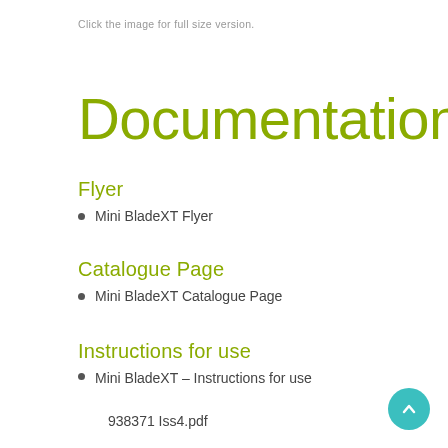Click the image for full size version.
Documentation
Flyer
Mini BladeXT Flyer
Catalogue Page
Mini BladeXT Catalogue Page
Instructions for use
Mini BladeXT – Instructions for use
938371 Iss4.pdf